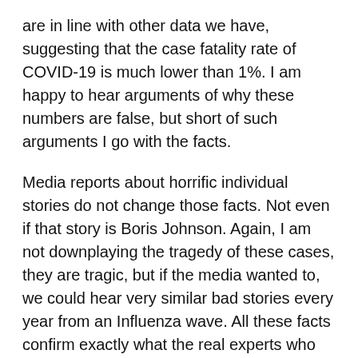are in line with other data we have, suggesting that the case fatality rate of COVID-19 is much lower than 1%. I am happy to hear arguments of why these numbers are false, but short of such arguments I go with the facts.
Media reports about horrific individual stories do not change those facts. Not even if that story is Boris Johnson. Again, I am not downplaying the tragedy of these cases, they are tragic, but if the media wanted to, we could hear very similar bad stories every year from an Influenza wave. All these facts confirm exactly what the real experts who came forward against the official narrative say about this virus. So they seem to be correct.
But then, if COVID-19 is not much different from the flu, how come the hospitals are full? That does